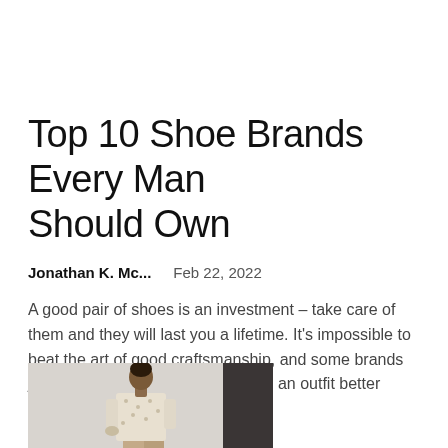Top 10 Shoe Brands Every Man Should Own
Jonathan K. Mc...    Feb 22, 2022
A good pair of shoes is an investment – take care of them and they will last you a lifetime. It's impossible to beat the art of good craftsmanship, and some brands just do it better. Nothing completes an outfit better than...
[Figure (photo): A man wearing a floral/patterned light shirt and tan trousers, standing against a light grey background.]